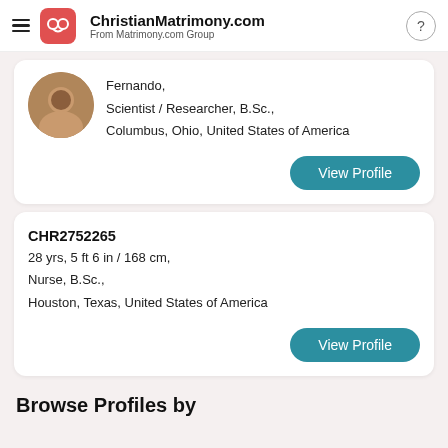ChristianMatrimony.com — From Matrimony.com Group
Fernando,
Scientist / Researcher, B.Sc.,
Columbus, Ohio, United States of America
View Profile
CHR2752265
28 yrs, 5 ft 6 in / 168 cm,
Nurse, B.Sc.,
Houston, Texas, United States of America
View Profile
Browse Profiles by